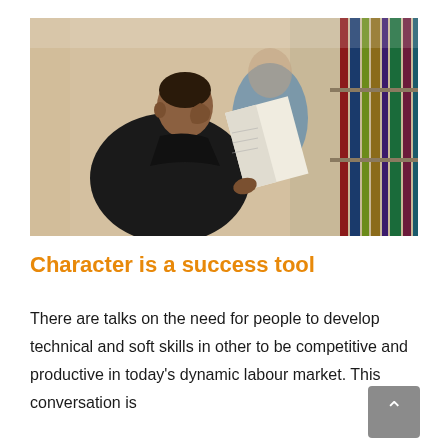[Figure (photo): A young man in profile view reading a book from a library shelf, with another person in the background also browsing books.]
Character is a success tool
There are talks on the need for people to develop technical and soft skills in other to be competitive and productive in today's dynamic labour market. This conversation is